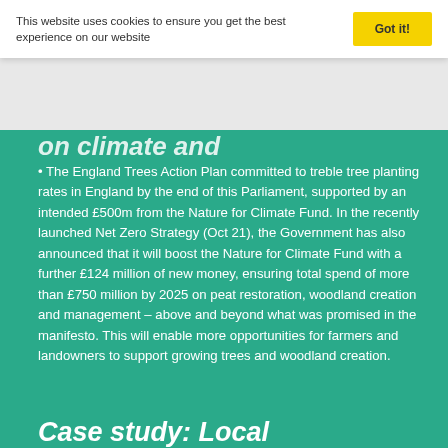This website uses cookies to ensure you get the best experience on our website  Got it!
The England Trees Action Plan committed to treble tree planting rates in England by the end of this Parliament, supported by an intended £500m from the Nature for Climate Fund. In the recently launched Net Zero Strategy (Oct 21), the Government has also announced that it will boost the Nature for Climate Fund with a further £124 million of new money, ensuring total spend of more than £750 million by 2025 on peat restoration, woodland creation and management – above and beyond what was promised in the manifesto. This will enable more opportunities for farmers and landowners to support growing trees and woodland creation.
Case study: Local